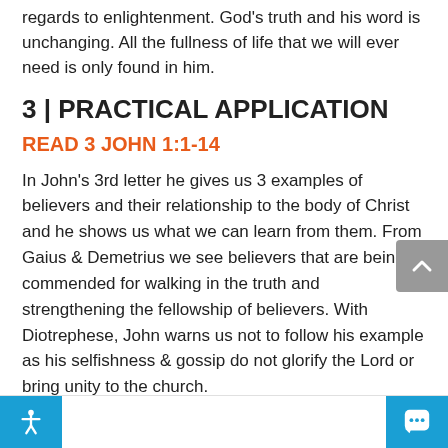regards to enlightenment. God's truth and his word is unchanging. All the fullness of life that we will ever need is only found in him.
3 | PRACTICAL APPLICATION
READ 3 JOHN 1:1-14
In John's 3rd letter he gives us 3 examples of believers and their relationship to the body of Christ and he shows us what we can learn from them. From Gaius & Demetrius we see believers that are being commended for walking in the truth and strengthening the fellowship of believers. With Diotrephese, John warns us not to follow his example as his selfishness & gossip do not glorify the Lord or bring unity to the church.